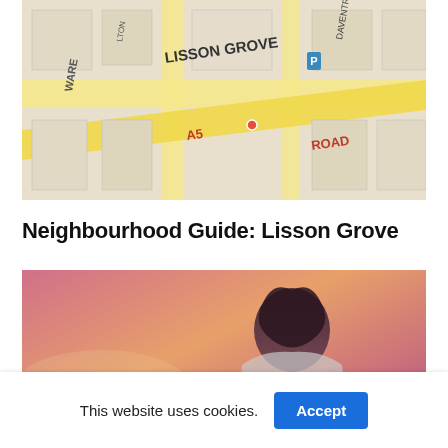[Figure (photo): Close-up photograph of a London street map showing Lisson Grove area with yellow road markings for A5 Road, showing street names including Ware, Lisson Grove, Daventry, and other surrounding streets.]
Neighbourhood Guide: Lisson Grove
[Figure (photo): Photograph of a person from behind with a pink and orange sunset sky, appearing to be a sports-related image.]
This website uses cookies.